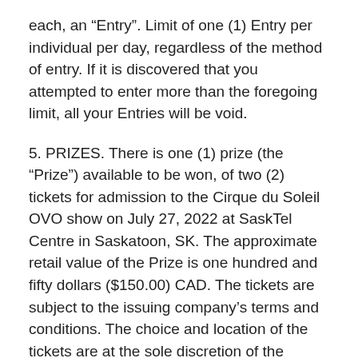each, an “Entry”. Limit of one (1) Entry per individual per day, regardless of the method of entry. If it is discovered that you attempted to enter more than the foregoing limit, all your Entries will be void.
5. PRIZES. There is one (1) prize (the “Prize”) available to be won, of two (2) tickets for admission to the Cirque du Soleil OVO show on July 27, 2022 at SaskTel Centre in Saskatoon, SK. The approximate retail value of the Prize is one hundred and fifty dollars ($150.00) CAD. The tickets are subject to the issuing company’s terms and conditions. The choice and location of the tickets are at the sole discretion of the Contest Sponsor. In the event that the event is not able to occur, the Contest Sponsor will be in